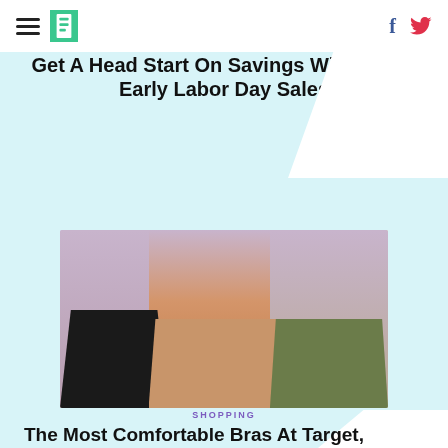HuffPost
SHOPPING
Get A Head Start On Savings With These Early Labor Day Sales
[Figure (photo): Three women modeling bras: left in black sports bra, center in nude strapless bra, right in olive green bra against a pink textured background]
SHOPPING
The Most Comfortable Bras At Target, According To Reviews